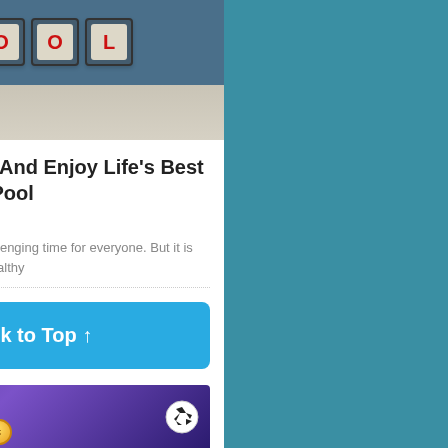[Figure (photo): Scrabble tiles spelling POOL on a blue game board surface with a stone/marble background below]
Avoid Boredom And Enjoy Life's Best Games By The Pool
July 4th, 2020 | by Ali Dino
As we all know, It is a challenging time for everyone. But it is crucial to stay safe and healthy
Back to Top ↑
[Figure (photo): U7BUY advertisement banner with purple background, soccer ball, and coin graphic]